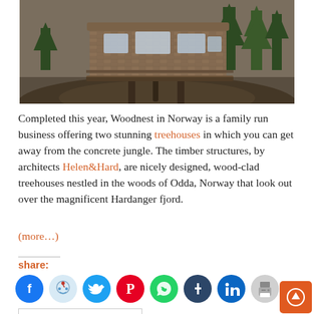[Figure (photo): Aerial view of Woodnest treehouse in Norway — a wood-shingled elevated cabin on stilts nestled among pine trees on a rocky hillside]
Completed this year, Woodnest in Norway is a family run business offering two stunning treehouses in which you can get away from the concrete jungle. The timber structures, by architects Helen&Hard, are nicely designed, wood-clad treehouses nestled in the woods of Odda, Norway that look out over the magnificent Hardanger fjord.
(more…)
share:
[Figure (infographic): Social share icons row: Facebook (blue), Reddit (light blue), Twitter (blue), Pinterest (red), WhatsApp (green), Tumblr (dark navy), LinkedIn (teal), Print (grey)]
Continue Reading ›